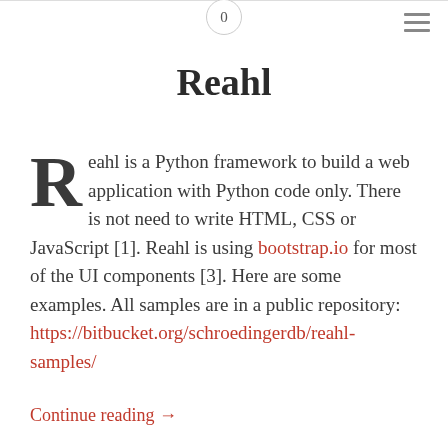0
Reahl
Reahl is a Python framework to build a web application with Python code only. There is not need to write HTML, CSS or JavaScript [1]. Reahl is using bootstrap.io for most of the UI components [3]. Here are some examples. All samples are in a public repository: https://bitbucket.org/schroedingerdb/reahl-samples/
Continue reading →